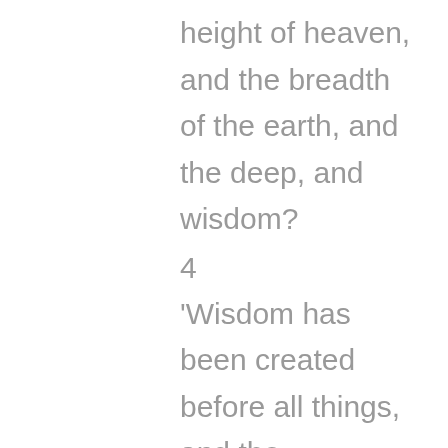height of heaven, and the breadth of the earth, and the deep, and wisdom?
4
‘Wisdom has been created before all things, and the understanding of prudence from everlasting.
5
‘The Word of EL ELYON is